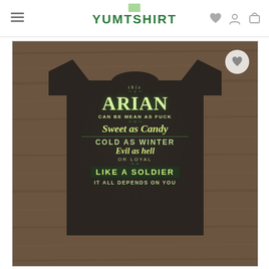YUMTSHIRT
[Figure (photo): Product photo of a black t-shirt showing the back design with text: 'This ARIAN can be mean as fuck, Sweet as Candy, Cold as Winter, Evil as hell, or loyal, Like a Soldier, It all depends on you' in green and yellow-green lettering with decorative flourishes]